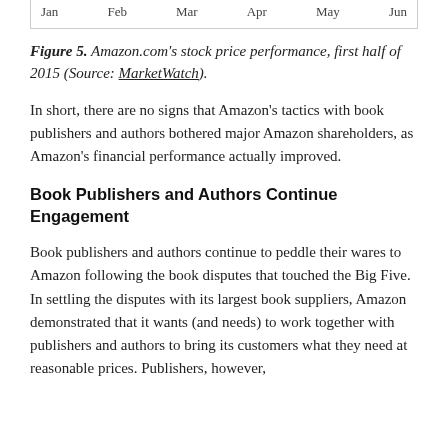[Figure (continuous-plot): Bottom portion of a line chart showing Amazon.com stock price performance. Only the x-axis labels (Jan, Feb, Mar, Apr, May, Jun) are visible at the top of the page.]
Figure 5. Amazon.com's stock price performance, first half of 2015 (Source: MarketWatch).
In short, there are no signs that Amazon's tactics with book publishers and authors bothered major Amazon shareholders, as Amazon's financial performance actually improved.
Book Publishers and Authors Continue Engagement
Book publishers and authors continue to peddle their wares to Amazon following the book disputes that touched the Big Five. In settling the disputes with its largest book suppliers, Amazon demonstrated that it wants (and needs) to work together with publishers and authors to bring its customers what they need at reasonable prices. Publishers, however,